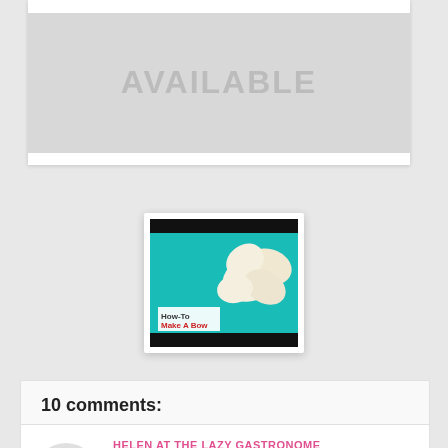[Figure (other): Image placeholder with 'AVAILABLE' text in gray on light gray background, with white frame]
[Figure (photo): Thumbnail video still showing a bow made of white/cream flowers on teal background with text 'How-To Make A Bow', displayed in a white polaroid-style frame]
10 comments:
HELEN AT THE LAZY GASTRONOME
Great tip on the vinegar!! Thanks for sharing at the What's for Dinner party!
Reply